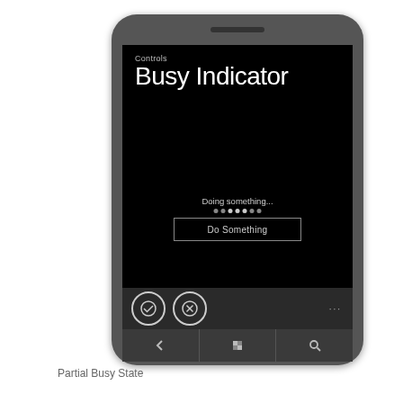[Figure (screenshot): Windows Phone screenshot showing a 'Busy Indicator' controls demo app. The phone screen displays 'Controls' label, 'Busy Indicator' title on black background, 'Doing something...' text with animated dots and a 'Do Something' button. The app bar shows check and X circle icons. Hardware buttons show back, Windows logo, and search.]
Partial Busy State